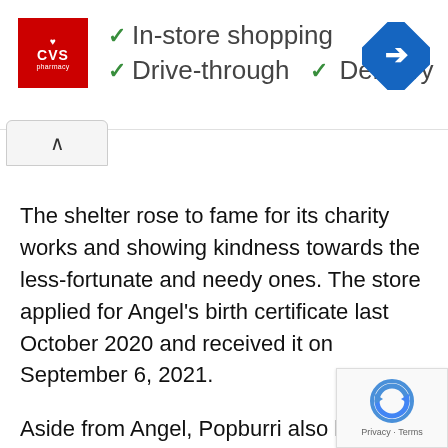[Figure (advertisement): CVS Pharmacy ad banner showing red CVS logo, green checkmarks next to 'In-store shopping', 'Drive-through', and 'Delivery', plus a blue map/navigation diamond icon on the right.]
The shelter rose to fame for its charity works and showing kindness towards the less-fortunate and needy ones. The store applied for Angel's birth certificate last October 2020 and received it on September 6, 2021.
Aside from Angel, Popburri also helped the girl's father to get a job. Currently, Angel is very happy as she waits for the enrollment.